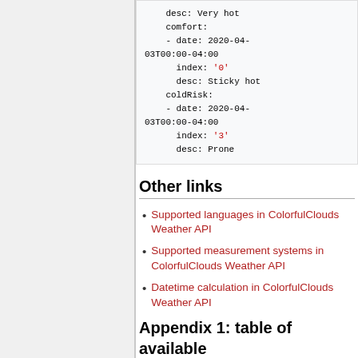desc: Very hot
        comfort:
        - date: 2020-04-03T00:00-04:00
          index: '0'
          desc: Sticky hot
        coldRisk:
        - date: 2020-04-03T00:00-04:00
          index: '3'
          desc: Prone
Other links
Supported languages in ColorfulClouds Weather API
Supported measurement systems in ColorfulClouds Weather API
Datetime calculation in ColorfulClouds Weather API
Appendix 1: table of available